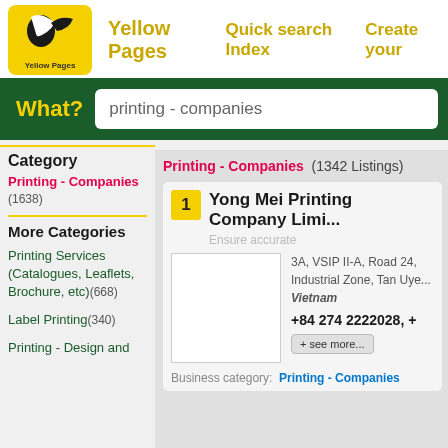[Figure (logo): Yellow Pages logo - yellow rounded square with black bird/pen icon and 'Yellow Pages' text below]
Yellow Pages   Quick search Index   Create your
What?   printing - companies
Category
Printing - Companies (1638)
More Categories
Printing Services (Catalogues, Leaflets, Brochure, etc)(668)
Label Printing(340)
Printing - Design and
Printing - Companies  (1342 Listings)
1  Yong Mei Printing Company Limi...
Ensure accurate
3A, VSIP II-A, Road 24, Industrial Zone, Tan Uye... Vietnam
+84 274 2222028, +
+ see more...
Business category:  Printing - Companies